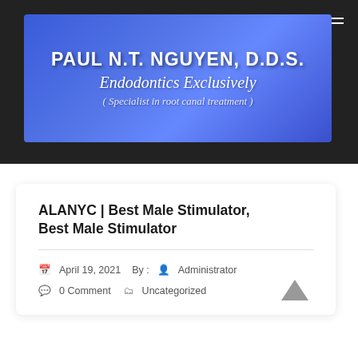[Figure (logo): Blue gradient banner with dental practice name and specialty: PAUL N.T. NGUYEN, D.D.S. — Endodontics Exclusively (Specialist in root canal treatment)]
ALANYC | Best Male Stimulator, Best Male Stimulator
April 19, 2021  By :  Administrator  0 Comment  Uncategorized